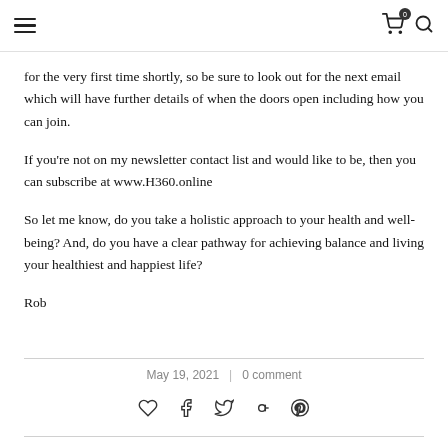Navigation header with hamburger menu, cart icon (0), and search icon
for the very first time shortly, so be sure to look out for the next email which will have further details of when the doors open including how you can join.
If you're not on my newsletter contact list and would like to be, then you can subscribe at www.H360.online
So let me know, do you take a holistic approach to your health and well-being? And, do you have a clear pathway for achieving balance and living your healthiest and happiest life?
Rob
May 19, 2021  |  0 comment